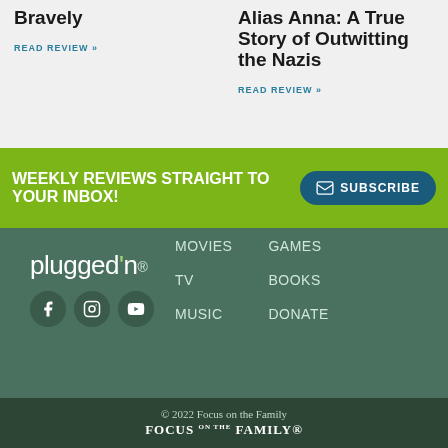Bravely
READ REVIEW »
Alias Anna: A True Story of Outwitting the Nazis
READ REVIEW »
WEEKLY REVIEWS STRAIGHT TO YOUR INBOX!
SUBSCRIBE
[Figure (logo): Plugged In logo with social media icons (Facebook, Instagram, YouTube)]
MOVIES
TV
MUSIC
GAMES
BOOKS
DONATE
© 2022 Focus on the Family
[Figure (logo): Focus on the Family logo in white]